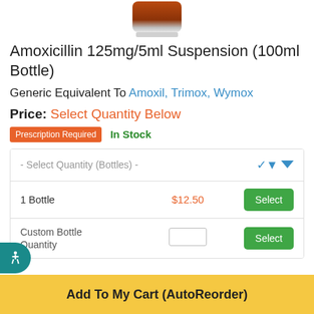[Figure (photo): Amber medicine bottle product photo, partially cropped at top]
Amoxicillin 125mg/5ml Suspension (100ml Bottle)
Generic Equivalent To Amoxil, Trimox, Wymox
Price: Select Quantity Below
Prescription Required   In Stock
|  | Price | Action |
| --- | --- | --- |
| - Select Quantity (Bottles) - |  | ▾ |
| 1 Bottle | $12.50 | Select |
| Custom Bottle Quantity |  | Select |
Add To My Cart (AutoReorder)